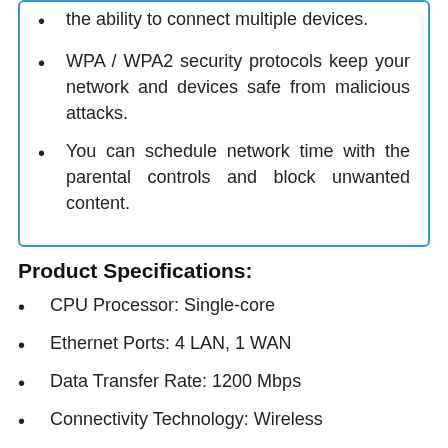the ability to connect multiple devices.
WPA / WPA2 security protocols keep your network and devices safe from malicious attacks.
You can schedule network time with the parental controls and block unwanted content.
Product Specifications:
CPU Processor: Single-core
Ethernet Ports: 4 LAN, 1 WAN
Data Transfer Rate: 1200 Mbps
Connectivity Technology: Wireless